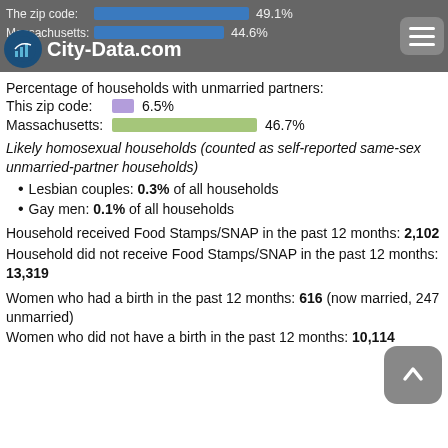City-Data.com
The zip code: 49.1%
Massachusetts: 44.6%
Percentage of households with unmarried partners:
This zip code: 6.5%
Massachusetts: 46.7%
Likely homosexual households (counted as self-reported same-sex unmarried-partner households)
Lesbian couples: 0.3% of all households
Gay men: 0.1% of all households
Household received Food Stamps/SNAP in the past 12 months: 2,102
Household did not receive Food Stamps/SNAP in the past 12 months: 13,319
Women who had a birth in the past 12 months: 616 (now married, 247 unmarried)
Women who did not have a birth in the past 12 months: 10,114